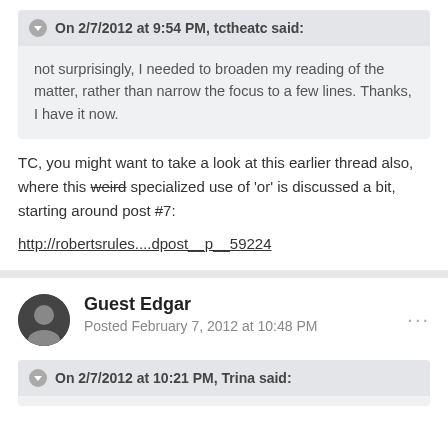On 2/7/2012 at 9:54 PM, tctheatc said:
not surprisingly, I needed to broaden my reading of the matter, rather than narrow the focus to a few lines. Thanks, I have it now.
TC, you might want to take a look at this earlier thread also, where this weird specialized use of 'or' is discussed a bit, starting around post #7:
http://robertsrules....dpost__p__59224
Guest Edgar
Posted February 7, 2012 at 10:48 PM
On 2/7/2012 at 10:21 PM, Trina said: